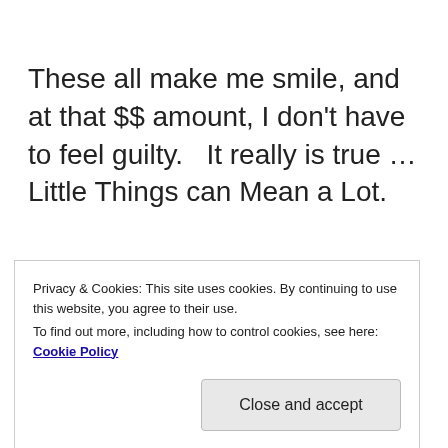These all make me smile, and at that $$ amount, I don't have to feel guilty.   It really is true … Little Things can Mean a Lot.
Thanks Dugger.  Love you
Privacy & Cookies: This site uses cookies. By continuing to use this website, you agree to their use.
To find out more, including how to control cookies, see here: Cookie Policy
Close and accept
everyone.  If you still need